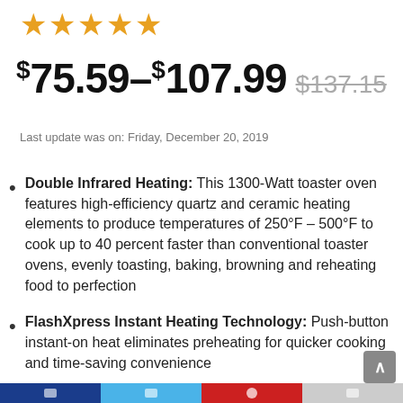[Figure (other): Five gold star rating icons]
$75.59 – $107.99 $137.15 (strikethrough)
Last update was on: Friday, December 20, 2019
Double Infrared Heating: This 1300-Watt toaster oven features high-efficiency quartz and ceramic heating elements to produce temperatures of 250°F – 500°F to cook up to 40 percent faster than conventional toaster ovens, evenly toasting, baking, browning and reheating food to perfection
FlashXpress Instant Heating Technology: Push-button instant-on heat eliminates preheating for quicker cooking and time-saving convenience
Social share bar footer